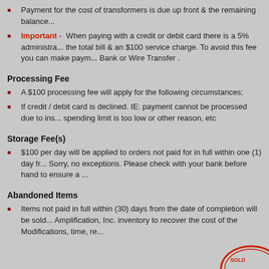Payment for the cost of transformers is due up front & the remaining balance...
Important - When paying with a credit or debit card there is a 5% administrative fee on the total bill & an $100 service charge. To avoid this fee you can make payment via Bank or Wire Transfer .
Processing Fee
A $100 processing fee will apply for the following circumstances;
If credit / debit card is declined. IE: payment cannot be processed due to insufficient funds, spending limit is too low or other reason, etc
Storage Fee(s)
$100 per day will be applied to orders not paid for in full within one (1) day fr... Sorry, no exceptions. Please check with your bank before hand to ensure a ...
Abandoned Items
Items not paid in full within (30) days from the date of completion will be sold... Amplification, Inc. inventory to recover the cost of the Modifications, time, re...
[Figure (logo): Partial circular logo/stamp visible at bottom right corner]